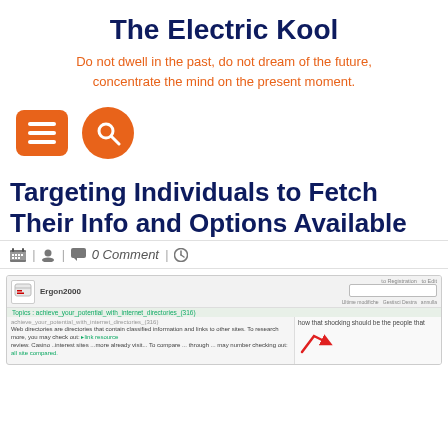The Electric Kool
Do not dwell in the past, do not dream of the future, concentrate the mind on the present moment.
[Figure (screenshot): Navigation icons: orange hamburger menu button and orange circular search button]
Targeting Individuals to Fetch Their Info and Options Available
0 Comment
[Figure (screenshot): Forum screenshot showing Ergon2000 user profile page with web directory spam content and large red SPAM text overlay with arrow]